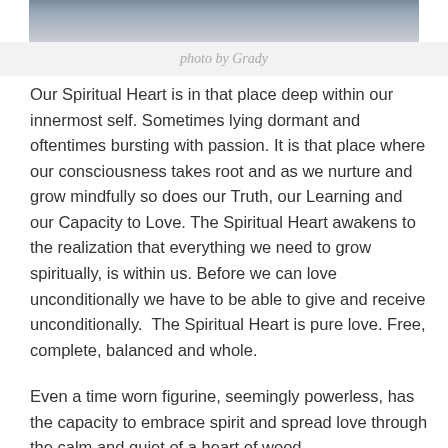[Figure (photo): Partial photo at top of page showing abstract swirling imagery, cropped at top]
photo by Grady
Our Spiritual Heart is in that place deep within our innermost self. Sometimes lying dormant and oftentimes bursting with passion. It is that place where our consciousness takes root and as we nurture and grow mindfully so does our Truth, our Learning and our Capacity to Love. The Spiritual Heart awakens to the realization that everything we need to grow spiritually, is within us. Before we can love unconditionally we have to be able to give and receive unconditionally.  The Spiritual Heart is pure love. Free, complete, balanced and whole.
Even a time worn figurine, seemingly powerless, has the capacity to embrace spirit and spread love through the calm and quiet of a heart of wood.